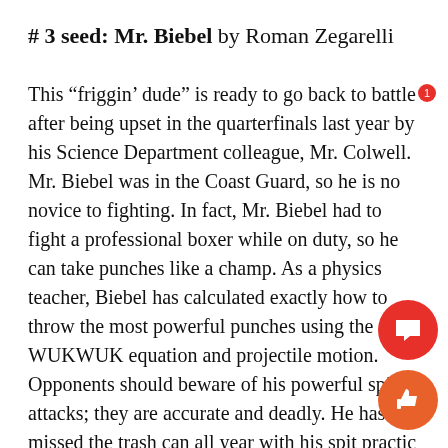# 3 seed: Mr. Biebel by Roman Zegarelli
This “friggin’ dude” is ready to go back to battle after being upset in the quarterfinals last year by his Science Department colleague, Mr. Colwell. Mr. Biebel was in the Coast Guard, so he is no novice to fighting. In fact, Mr. Biebel had to fight a professional boxer while on duty, so he can take punches like a champ. As a physics teacher, Biebel has calculated exactly how to throw the most powerful punches using the WUKWUK equation and projectile motion. Opponents should beware of his powerful spit attacks; they are accurate and deadly. He hasn’t missed the trash can all year with his spit practice and sometimes tears a hole in the bag from the sheer force alone. With such an impressive résumé, it would be impossible for Biebel not to be considered an early favorite this year.